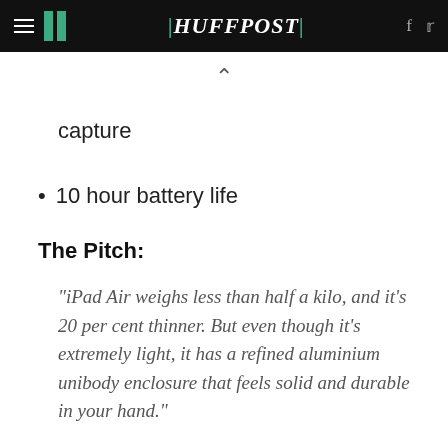HUFFPOST
capture
10 hour battery life
The Pitch:
"iPad Air weighs less than half a kilo, and it's 20 per cent thinner. But even though it's extremely light, it has a refined aluminium unibody enclosure that feels solid and durable in your hand."